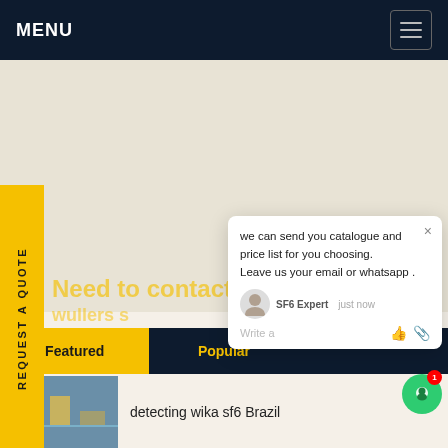MENU
Need to contact a
we can send you catalogue and price list for you choosing. Leave us your email or whatsapp .
SF6 Expert   just now
Write a
Featured  Popular
detecting wika sf6 Brazil
next generation b143r11 Europe
REQUEST A QUOTE